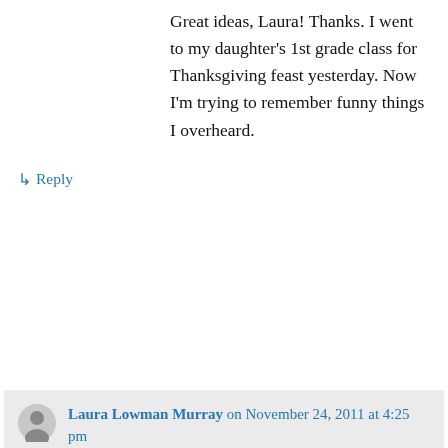Great ideas, Laura! Thanks. I went to my daughter's 1st grade class for Thanksgiving feast yesterday. Now I'm trying to remember funny things I overheard.
↳ Reply
Laura Lowman Murray on November 24, 2011 at 4:25 pm
And when you remember them, don't forget to write them down. I always think I'll remember, but I have learned to keep that notepad handy :).
↳ Reply